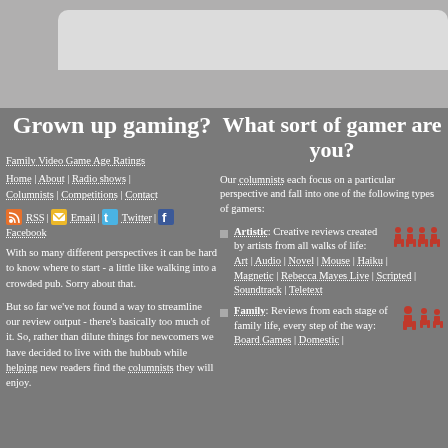[Figure (screenshot): Top navigation bar area with rounded tab element]
Grown up gaming?
What sort of gamer are you?
Family Video Game Age Ratings
Home | About | Radio shows | Columnists | Competitions | Contact
RSS | Email | Twitter | Facebook
With so many different perspectives it can be hard to know where to start - a little like walking into a crowded pub. Sorry about that.
But so far we've not found a way to streamline our review output - there's basically too much of it. So, rather than dilute things for newcomers we have decided to live with the hubbub while helping new readers find the columnists they will enjoy.
Our columnists each focus on a particular perspective and fall into one of the following types of gamers:
Artistic: Creative reviews created by artists from all walks of life: Art | Audio | Novel | Mouse | Haiku | Magnetic | Rebecca Mayes Live | Scripted | Soundtrack | Teletext
Family: Reviews from each stage of family life, every step of the way: Board Games | Domestic |